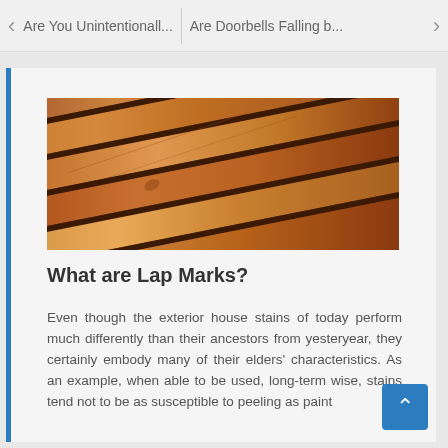< Are You Unintentionall... Are Doorbells Falling b... >
[Figure (photo): Close-up diagonal view of wooden deck boards with warm brown stain, showing wood grain and texture]
What are Lap Marks?
Even though the exterior house stains of today perform much differently than their ancestors from yesteryear, they certainly embody many of their elders' characteristics. As an example, when able to be used, long-term wise, stains tend not to be as susceptible to peeling as paint